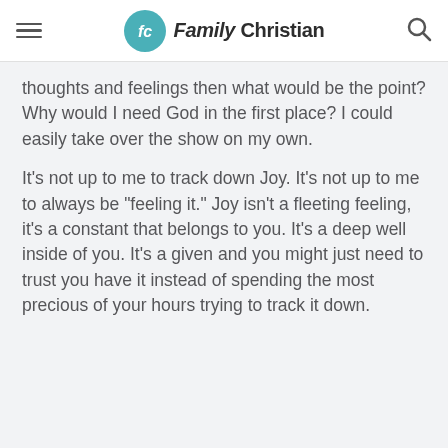Family Christian
thoughts and feelings then what would be the point? Why would I need God in the first place? I could easily take over the show on my own.
It’s not up to me to track down Joy. It’s not up to me to always be “feeling it.” Joy isn’t a fleeting feeling, it’s a constant that belongs to you. It’s a deep well inside of you. It’s a given and you might just need to trust you have it instead of spending the most precious of your hours trying to track it down.